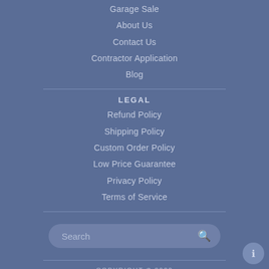Garage Sale
About Us
Contact Us
Contractor Application
Blog
LEGAL
Refund Policy
Shipping Policy
Custom Order Policy
Low Price Guarantee
Privacy Policy
Terms of Service
Search
COPYRIGHT © 2022 MAJESTIC WATER SPOUTS